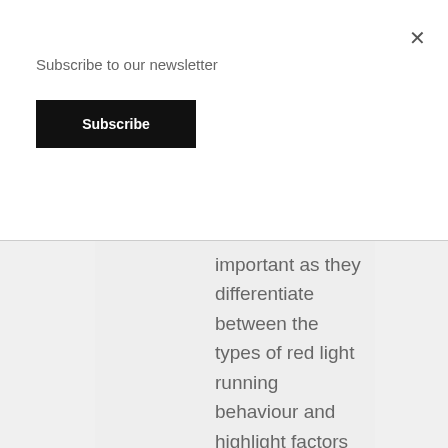Subscribe to our newsletter
Subscribe
important as they differentiate between the types of red light running behaviour and highlight factors influencing cyclists risk exposure.